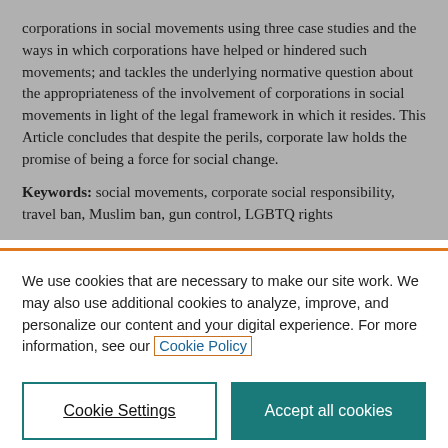corporations in social movements using three case studies and the ways in which corporations have helped or hindered such movements; and tackles the underlying normative question about the appropriateness of the involvement of corporations in social movements in light of the legal framework in which it resides. This Article concludes that despite the perils, corporate law holds the promise of being a force for social change.
Keywords: social movements, corporate social responsibility, travel ban, Muslim ban, gun control, LGBTQ rights
We use cookies that are necessary to make our site work. We may also use additional cookies to analyze, improve, and personalize our content and your digital experience. For more information, see our Cookie Policy
Cookie Settings
Accept all cookies